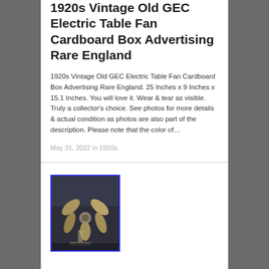1920s Vintage Old GEC Electric Table Fan Cardboard Box Advertising Rare England
1920s Vintage Old GEC Electric Table Fan Cardboard Box Advertising Rare England. 25 Inches x 9 Inches x 15.1 Inches. You will love it. Wear & tear as visible. Truly a collector's choice. See photos for more details & actual condition as photos are also part of the description. Please note that the color of…
May 31, 2022 in 1920s.
[Figure (photo): Thumbnail photo of a vintage GEC electric table fan with brass/gold blades on a stand, shown against a blurred background. Image has a blue border.]